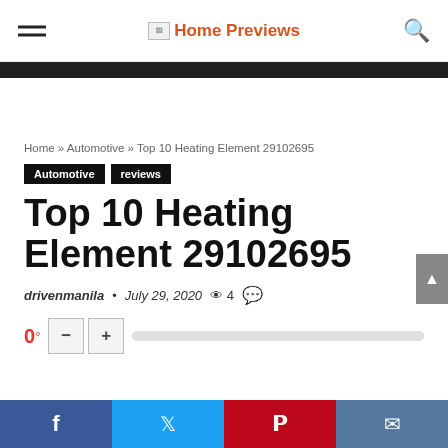Home Previews
Home » Automotive » Top 10 Heating Element 29102695
Automotive  reviews
Top 10 Heating Element 29102695
drivenmanila • July 29, 2020  4
Facebook Twitter Pinterest Email